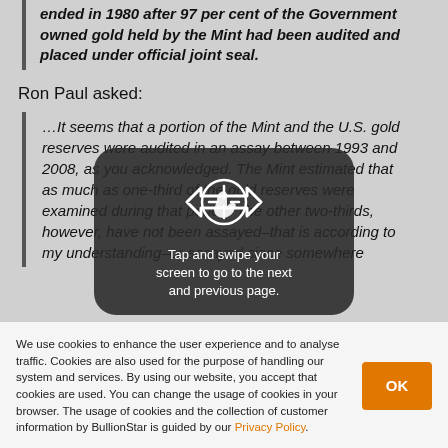ended in 1980 after 97 per cent of the Government owned gold held by the Mint had been audited and placed under official joint seal.
Ron Paul asked:
…It seems that a portion of the Mint and the U.S. gold reserves were audited in an assay between 1993 and 2008, as you acknowledged. The Mint estimated that as much as one-third of the gold reserves were examined during that period. The other two-thirds, however, have not been assayed–that is according to my understanding–or assayed since somewhere
[Figure (infographic): Swipe overlay showing hand gesture icon with arrows and text: 'Tap and swipe your screen to go to the next and previous page.']
We use cookies to enhance the user experience and to analyse traffic. Cookies are also used for the purpose of handling our system and services. By using our website, you accept that cookies are used. You can change the usage of cookies in your browser. The usage of cookies and the collection of customer information by BullionStar is guided by our Privacy Policy.